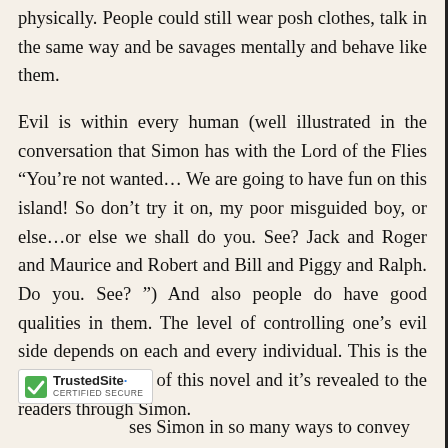physically. People could still wear posh clothes, talk in the same way and be savages mentally and behave like them.
Evil is within every human (well illustrated in the conversation that Simon has with the Lord of the Flies “You’re not wanted… We are going to have fun on this island! So don’t try it on, my poor misguided boy, or else…or else we shall do you. See? Jack and Roger and Maurice and Robert and Bill and Piggy and Ralph. Do you. See? ”) And also people do have good qualities in them. The level of controlling one’s evil side depends on each and every individual. This is the fundamental truth of this novel and it’s revealed to the readers through Simon.
[Figure (logo): TrustedSite Certified Secure badge with green checkmark]
ses Simon in so many ways to convey